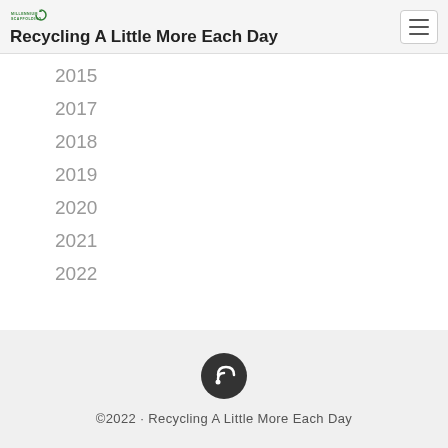Recycling A Little More Each Day
2015
2017
2018
2019
2020
2021
2022
©2022 · Recycling A Little More Each Day